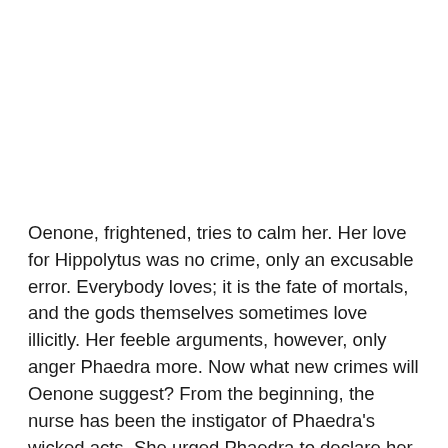Oenone, frightened, tries to calm her. Her love for Hippolytus was no crime, only an excusable error. Everybody loves; it is the fate of mortals, and the gods themselves sometimes love illicitly. Her feeble arguments, however, only anger Phaedra more. Now what new crimes will Oenone suggest? From the beginning, the nurse has been the instigator of Phaedra's wicked acts. She urged Phaedra to declare her love to Hippolytus; it was she who accused him falsely to his father and who may even now have encompassed his death.